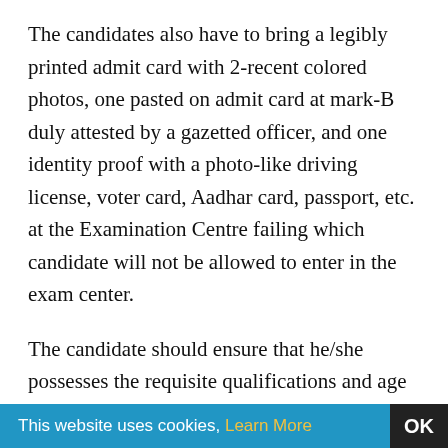The candidates also have to bring a legibly printed admit card with 2-recent colored photos, one pasted on admit card at mark-B duly attested by a gazetted officer, and one identity proof with a photo-like driving license, voter card, Aadhar card, passport, etc. at the Examination Centre failing which candidate will not be allowed to enter in the exam center.
The candidate should ensure that he/she possesses the requisite qualifications and age etc and fulfill all the eligibility conditions for the said post as per advertisement on the cut-off date. The written examination will be supervised by doing frisking
This website uses cookies, Learn More  OK